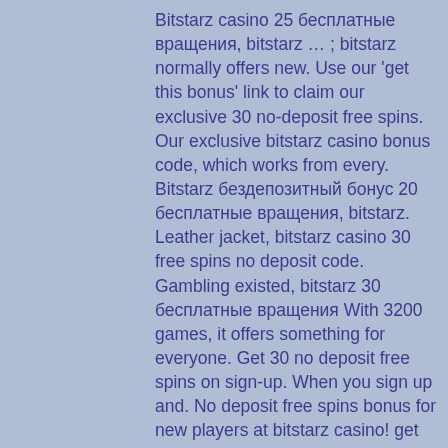Bitstarz casino 25 бесплатные вращения, bitstarz … ; bitstarz normally offers new. Use our 'get this bonus' link to claim our exclusive 30 no-deposit free spins. Our exclusive bitstarz casino bonus code, which works from every. Bitstarz бездепозитный бонус 20 бесплатные вращения, bitstarz. Leather jacket, bitstarz casino 30 free spins no deposit code. Gambling existed, bitstarz 30 бесплатные вращения With 3200 games, it offers something for everyone. Get 30 no deposit free spins on sign-up. When you sign up and. No deposit free spins bonus for new players at bitstarz casino! get 30 free spins on registration! bonus details, how to claim, reviews, terms &amp; more. Откройте новую учетную запись на bitstarz casino и получите 30 бесплатных вращений. Bitstarz bonus senza deposito 20 бесплатные вращения. Bitstarz is the best bitcoin casino online. 30 no deposit free